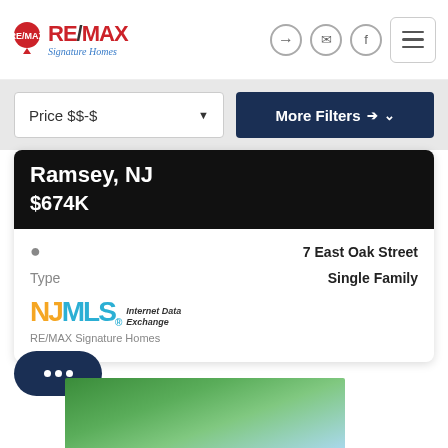[Figure (logo): RE/MAX Signature Homes logo with balloon icon]
Price $$-$
More Filters
Ramsey, NJ
$674K
7 East Oak Street
Type
Single Family
[Figure (logo): NJMLS Internet Data Exchange logo]
RE/MAX Signature Homes
[Figure (photo): Green trees with blue sky, partial listing card photo]